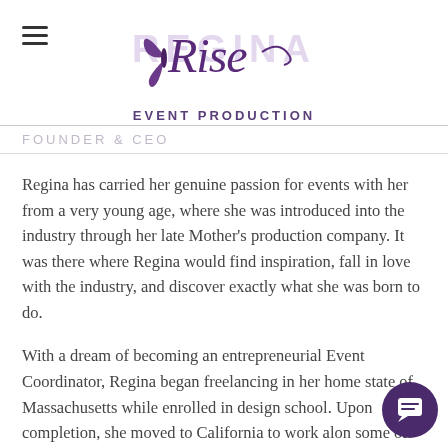[Figure (logo): Rise Event Production logo with butterfly and cursive/serif lettering, purple color. REGINA text in background, Rise in cursive script, EVENT PRODUCTION in bold caps below.]
FOUNDER & CEO
Regina has carried her genuine passion for events with her from a very young age, where she was introduced into the industry through her late Mother's production company. It was there where Regina would find inspiration, fall in love with the industry, and discover exactly what she was born to do.
With a dream of becoming an entrepreneurial Event Coordinator, Regina began freelancing in her home state of Massachusetts while enrolled in design school. Upon completion, she moved to California to work along some of the country's most elite event professionals. Regina has produced luxury weddings and high-profile